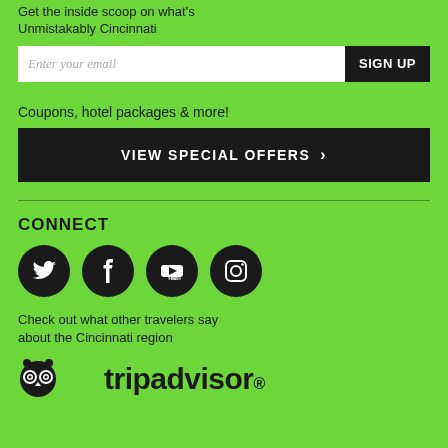Get the inside scoop on what's Unmistakably Cincinnati
[Figure (screenshot): Email signup form with text input 'Enter your email' and black 'SIGN UP' button]
Coupons, hotel packages & more!
[Figure (screenshot): Black button with white text 'VIEW SPECIAL OFFERS >']
CONNECT
[Figure (infographic): Four social media icons in black circles: Twitter, Facebook, YouTube, Instagram]
Check out what other travelers say about the Cincinnati region
[Figure (logo): TripAdvisor logo with owl icon and tripadvisor text with registered trademark symbol]